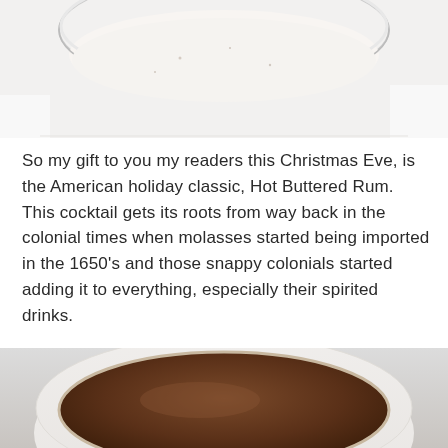[Figure (photo): Top-down view of a glass bowl with a creamy white liquid on a white surface, partially cropped at the top of the page.]
So my gift to you my readers this Christmas Eve, is the American holiday classic, Hot Buttered Rum. This cocktail gets its roots from way back in the colonial times when molasses started being imported in the 1650's and those snappy colonials started adding it to everything, especially their spirited drinks.
[Figure (photo): Close-up top-down view of a white mug filled with a dark brown hot buttered rum drink, on a light gray background.]